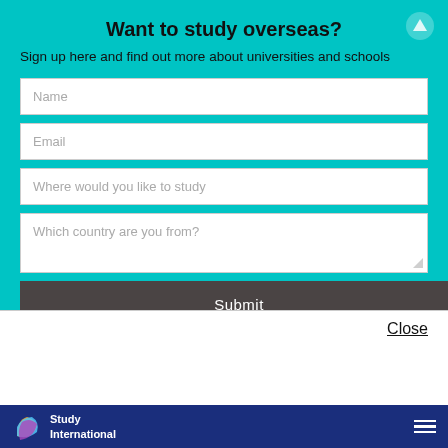Want to study overseas?
Sign up here and find out more about universities and schools
[Figure (screenshot): Web form with fields: Name, Email, Where would you like to study, Which country are you from?, and a Submit button]
Close
[Figure (logo): Study International logo with colorful S icon on dark blue footer bar]